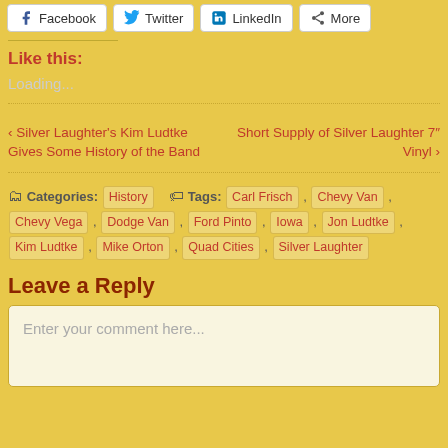Facebook  Twitter  LinkedIn  More
Like this:
Loading...
‹ Silver Laughter's Kim Ludtke Gives Some History of the Band      Short Supply of Silver Laughter 7" Vinyl ›
Categories: History   Tags: Carl Frisch, Chevy Van, Chevy Vega, Dodge Van, Ford Pinto, Iowa, Jon Ludtke, Kim Ludtke, Mike Orton, Quad Cities, Silver Laughter
Leave a Reply
Enter your comment here...